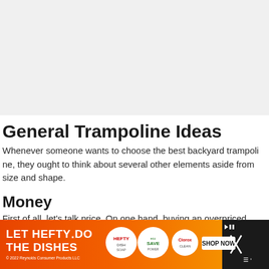[Figure (other): Gray banner/advertisement area at top of page]
General Trampoline Ideas
Whenever someone wants to choose the best backyard trampoline, they ought to think about several other elements aside from size and shape.
Money
First of all, let's talk price. On one hand, buying an overpriced trampoline...
[Figure (other): Advertisement banner at bottom: LET HEFTY DO THE DISHES with product images and SHOP NOW button, orange gradient background]